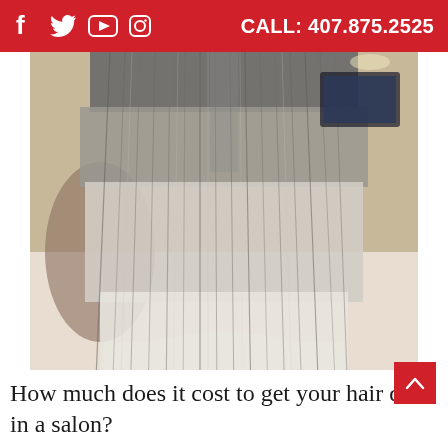f  Twitter  YouTube  Instagram   CALL: 407.875.2525
[Figure (photo): Back view of a person with long straight blonde/silver balayage hair in a salon setting]
How much does it cost to get your hair done in a salon?